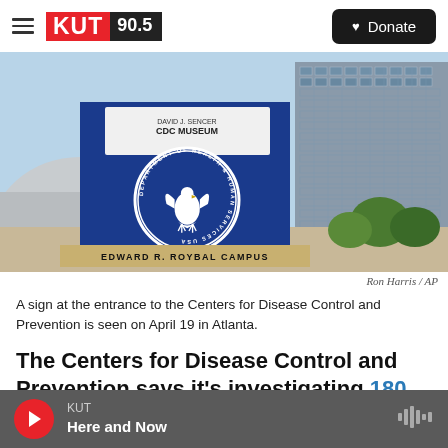KUT 90.5 | Donate
[Figure (photo): A sign at the entrance to the CDC showing the HHS eagle logo and text 'EDWARD R. ROYBAL CAMPUS' and 'DAVID J. SENCER CDC MUSEUM', with buildings in the background]
Ron Harris / AP
A sign at the entrance to the Centers for Disease Control and Prevention is seen on April 19 in Atlanta.
The Centers for Disease Control and Prevention says it's investigating 180 pediatric patients with
KUT
Here and Now